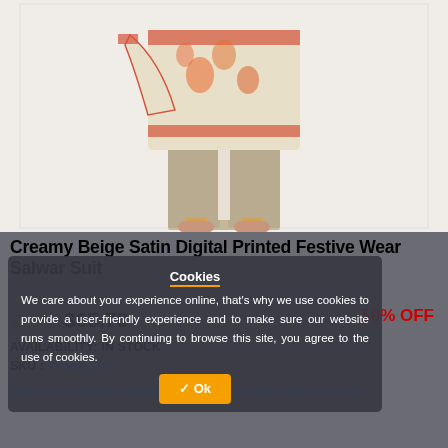[Figure (photo): Product photo of a Creamy Beige Satin Digital Printed Festive Wear Salwar Suit worn by a model, showing the lower half of the outfit including wide-leg palazzos and a floral printed dupatta/top with orange borders.]
Creamy Beige Satin Digital Printed Festive Wear Salwar Suit
$131.56  $65.78    50% OFF
AVAILABILITY: IN STOCK
SKU : FABSL2100...
Choose an option (Unstiched Fabric/Standard Size/Custom
Cookies
We care about your experience online, that's why we use cookies to provide a user-friendly experience and to make sure our website runs smoothly. By continuing to browse this site, you agree to the use of cookies.
✔ Ok